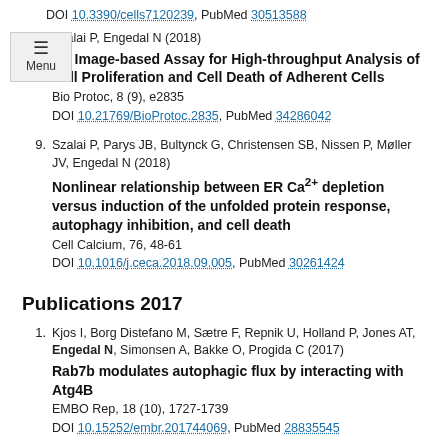DOI 10.3390/cells7120239, PubMed 30513588
8. Szalai P, Engedal N (2018)
An Image-based Assay for High-throughput Analysis of Cell Proliferation and Cell Death of Adherent Cells
Bio Protoc, 8 (9), e2835
DOI 10.21769/BioProtoc.2835, PubMed 34286042
9. Szalai P, Parys JB, Bultynck G, Christensen SB, Nissen P, Møller JV, Engedal N (2018)
Nonlinear relationship between ER Ca2+ depletion versus induction of the unfolded protein response, autophagy inhibition, and cell death
Cell Calcium, 76, 48-61
DOI 10.1016/j.ceca.2018.09.005, PubMed 30261424
Publications 2017
1. Kjos I, Borg Distefano M, Sætre F, Repnik U, Holland P, Jones AT, Engedal N, Simonsen A, Bakke O, Progida C (2017)
Rab7b modulates autophagic flux by interacting with Atg4B
EMBO Rep, 18 (10), 1727-1739
DOI 10.15252/embr.201744069, PubMed 28835545